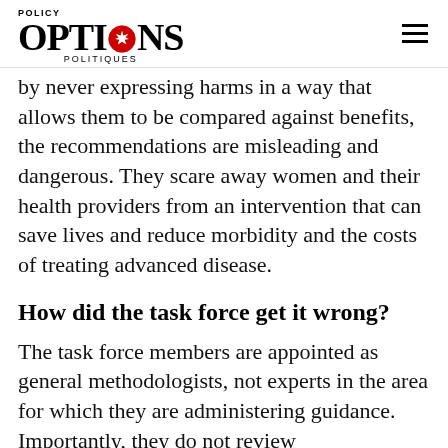POLICY OPTIONS POLITIQUES
by never expressing harms in a way that allows them to be compared against benefits, the recommendations are misleading and dangerous. They scare away women and their health providers from an intervention that can save lives and reduce morbidity and the costs of treating advanced disease.
How did the task force get it wrong?
The task force members are appointed as general methodologists, not experts in the area for which they are administering guidance. Importantly, they do not review